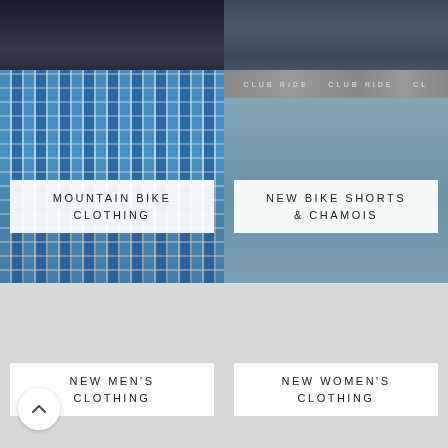[Figure (photo): Cropped upper body of a man wearing a dark navy/black plaid flannel shirt]
[Figure (photo): Cropped upper body of a man wearing a solid navy blue long-sleeve shirt or jacket]
[Figure (photo): Man wearing a blue plaid flannel shirt (mountain bike clothing category image)]
MOUNTAIN BIKE CLOTHING
[Figure (photo): Close-up of Club Ride branded bicycle shorts/chamois in blue-grey color with grey waistband showing 'CLUB RIDE' text]
NEW BIKE SHORTS & CHAMOIS
[Figure (photo): Light grey placeholder image for new men's clothing category]
NEW MEN'S CLOTHING
[Figure (photo): Light grey placeholder image for new women's clothing category]
NEW WOMEN'S CLOTHING